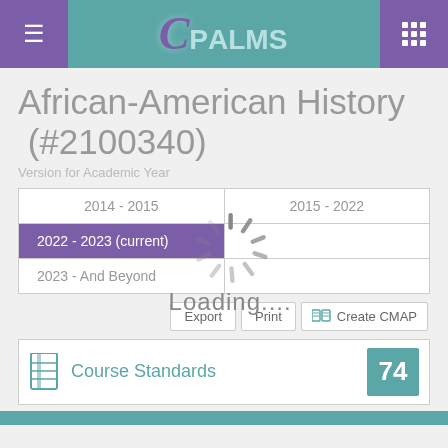CPALMS
African-American History (#2100340)
Version for Academic Year
| 2014 - 2015 | 2015 - 2022 |
| 2022 - 2023 (current) |  |
| 2023 - And Beyond |  |
[Figure (infographic): Loading spinner overlay with 'Loading....' text]
Export  Print  🗺 Create CMAP
Course Standards  74